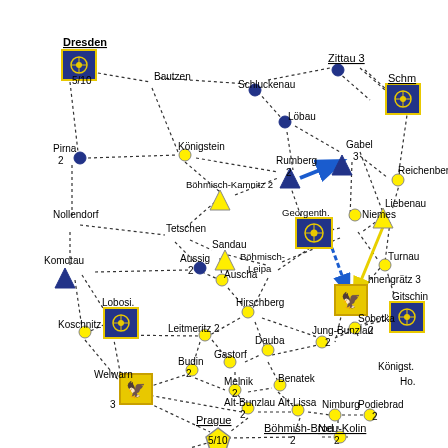[Figure (network-graph): A network/map diagram showing cities and towns in Bohemia connected by dotted lines. Nodes are represented as yellow circles, yellow triangles, blue circles, blue squares (with compass rose icons), yellow pentagon (Prague), and gold eagle shields. Cities include Dresden 5/10, Bautzen, Schluckenau, Zittau 3, Bautzen, Löbau, Gabel 3, Rumberg 2, Pirna 2, Königstein, Böhmisch-Kamnitz 2, Georgenthal, Niemes, Liebenau, Nollendorf, Tetschen, Sandau, Böhmisch-Leipa, Turnau, Komotau, Aussig 2, Auscha, Hirschberg, Jungbunzlau 2, Lobositz, Leitmeritz 2, Gastorf, Dauba, Sobotka 2, Koschnitz, Budin 2, Jung-Bunzlau 2, Melnik 2, Benatek, Gitschin, Welwarn 3, Alt-Bunzlau 2, Alt-Lissa, Nimburg, Podiebrad 2, Prague 5/10, Böhmish-Brod 2, Neu-Kolin 2, Hněngrät 3, Reichenberg 2. Arrows indicate movement directions between Rumberg and Gabel (blue), and yellow arrow near Liebenau/Niemes area.]